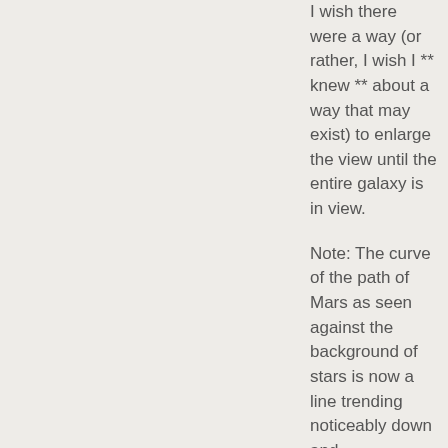I wish there were a way (or rather, I wish I ** knew ** about a way that may exist) to enlarge the view until the entire galaxy is in view.

Note: The curve of the path of Mars as seen against the background of stars is now a line trending noticeably down and